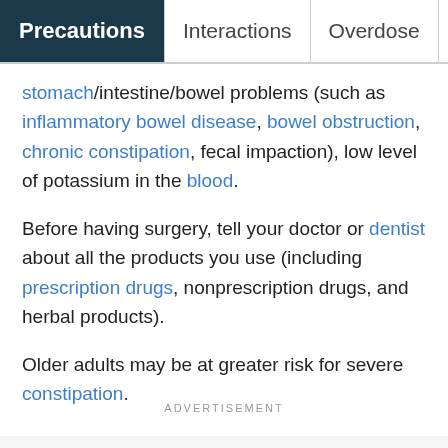Precautions | Interactions | Overdose | Imag...
stomach/intestine/bowel problems (such as inflammatory bowel disease, bowel obstruction, chronic constipation, fecal impaction), low level of potassium in the blood.
Before having surgery, tell your doctor or dentist about all the products you use (including prescription drugs, nonprescription drugs, and herbal products).
Older adults may be at greater risk for severe constipation.
ADVERTISEMENT